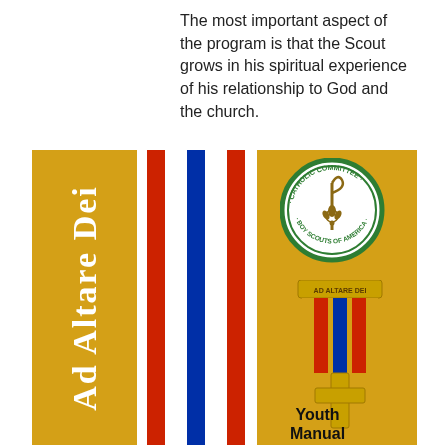The most important aspect of the program is that the Scout grows in his spiritual experience of his relationship to God and the church.
[Figure (illustration): Ad Altare Dei Youth Manual book cover showing yellow left panel with 'Ad Altare Dei' text rotated vertically, red-white-blue vertical stripes in the center area, and a yellow right panel with the Catholic Committee on Scouting (Boy Scouts of America) oval emblem at top and an Ad Altare Dei medal with gold cross below. 'Youth Manual' text appears at bottom right.]